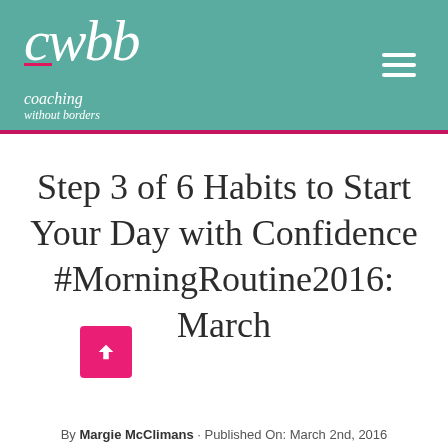cwbb coaching without borders
Step 3 of 6 Habits to Start Your Day with Confidence #MorningRoutine2016: March
By Margie McClimans · Published On: March 2nd, 2016